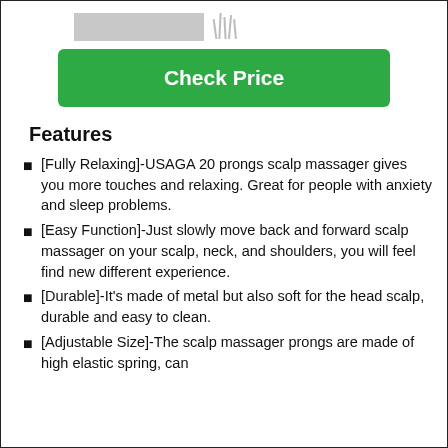[Figure (photo): Partial product image of a scalp massager visible at the top of the page]
Check Price
Features
[Fully Relaxing]-USAGA 20 prongs scalp massager gives you more touches and relaxing. Great for people with anxiety and sleep problems.
[Easy Function]-Just slowly move back and forward scalp massager on your scalp, neck, and shoulders, you will feel find new different experience.
[Durable]-It's made of metal but also soft for the head scalp, durable and easy to clean.
[Adjustable Size]-The scalp massager prongs are made of high elastic spring, can